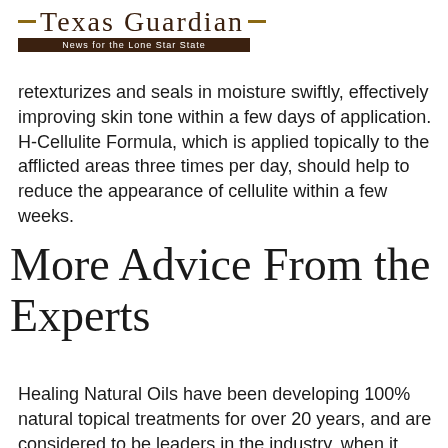Texas Guardian — News for the Lone Star State
retexturizes and seals in moisture swiftly, effectively improving skin tone within a few days of application. H-Cellulite Formula, which is applied topically to the afflicted areas three times per day, should help to reduce the appearance of cellulite within a few weeks.
More Advice From the Experts
Healing Natural Oils have been developing 100% natural topical treatments for over 20 years, and are considered to be leaders in the industry, when it